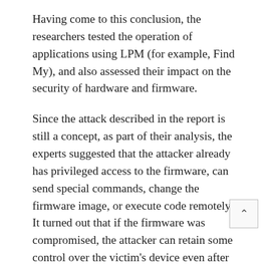Having come to this conclusion, the researchers tested the operation of applications using LPM (for example, Find My), and also assessed their impact on the security of hardware and firmware.
Since the attack described in the report is still a concept, as part of their analysis, the experts suggested that the attacker already has privileged access to the firmware, can send special commands, change the firmware image, or execute code remotely. It turned out that if the firmware was compromised, the attacker can retain some control over the victim's device even after it is turned off, and this can be quite useful for persistent exploits.